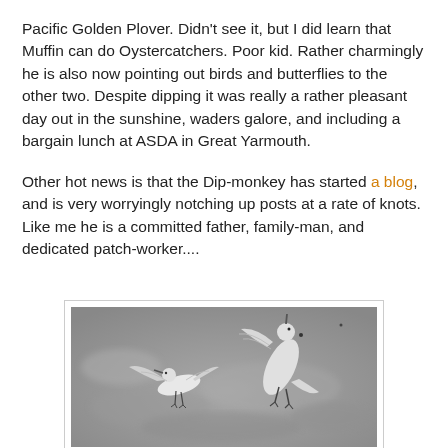Pacific Golden Plover. Didn't see it, but I did learn that Muffin can do Oystercatchers. Poor kid. Rather charmingly he is also now pointing out birds and butterflies to the other two. Despite dipping it was really a rather pleasant day out in the sunshine, waders galore, and including a bargain lunch at ASDA in Great Yarmouth.
Other hot news is that the Dip-monkey has started a blog, and is very worryingly notching up posts at a rate of knots. Like me he is a committed father, family-man, and dedicated patch-worker....
[Figure (photo): Black and white photograph of two birds (likely gulls or waders) in flight against a blurred grey background.]